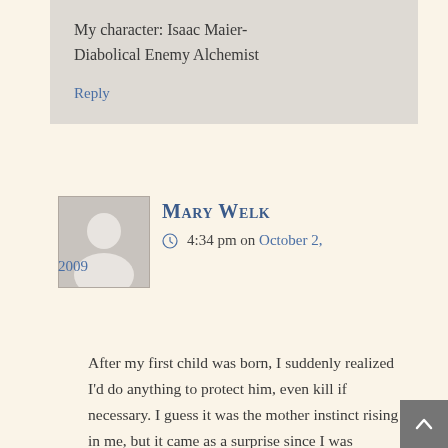My character: Isaac Maier-Diabolical Enemy Alchemist
Reply
Mary Welk
4:34 pm on October 2, 2009
After my first child was born, I suddenly realized I'd do anything to protect him, even kill if necessary. I guess it was the mother instinct rising in me, but it came as a surprise since I was basically a non-